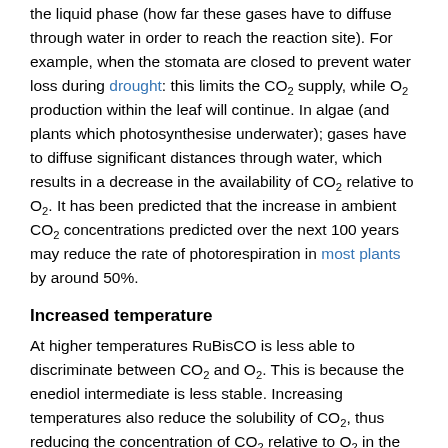the liquid phase (how far these gases have to diffuse through water in order to reach the reaction site). For example, when the stomata are closed to prevent water loss during drought: this limits the CO₂ supply, while O₂ production within the leaf will continue. In algae (and plants which photosynthesise underwater); gases have to diffuse significant distances through water, which results in a decrease in the availability of CO₂ relative to O₂. It has been predicted that the increase in ambient CO₂ concentrations predicted over the next 100 years may reduce the rate of photorespiration in most plants by around 50%.
Increased temperature
At higher temperatures RuBisCO is less able to discriminate between CO₂ and O₂. This is because the enediol intermediate is less stable. Increasing temperatures also reduce the solubility of CO₂, thus reducing the concentration of CO₂ relative to O₂ in the chloroplast.
Biological adaptation to minimize photorespiration